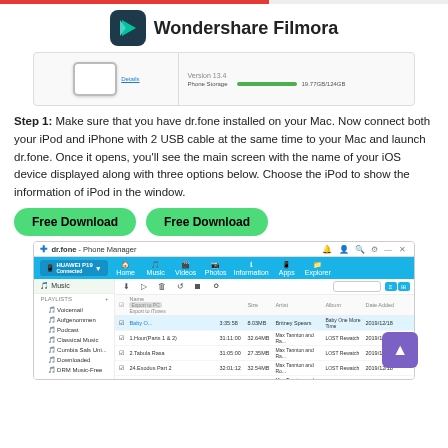[Figure (screenshot): Wondershare Filmora logo and app header with top red bar]
[Figure (screenshot): Partial screenshot of dr.fone app showing iPhone storage info]
Step 1: Make sure that you have dr.fone installed on your Mac. Now connect both your iPod and iPhone with 2 USB cable at the same time to your Mac and launch dr.fone. Once it opens, you'll see the main screen with the name of your iOS device displayed along with three options below. Choose the iPod to show the information of iPod in the window.
[Figure (screenshot): Two Free Download buttons (green/teal rounded rectangles)]
[Figure (screenshot): dr.fone Phone Manager app screenshot showing music file list with playlists sidebar]